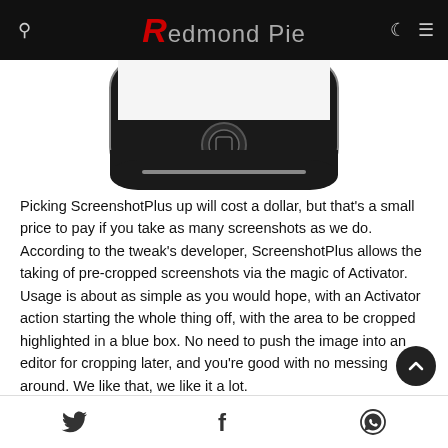Redmond Pie
[Figure (photo): Partial bottom view of an iPhone showing the home button and lower bezel against a white background]
Picking ScreenshotPlus up will cost a dollar, but that's a small price to pay if you take as many screenshots as we do. According to the tweak's developer, ScreenshotPlus allows the taking of pre-cropped screenshots via the magic of Activator. Usage is about as simple as you would hope, with an Activator action starting the whole thing off, with the area to be cropped highlighted in a blue box. No need to push the image into an editor for cropping later, and you're good with no messing around. We like that, we like it a lot.
Share icons: Twitter, Facebook, WhatsApp